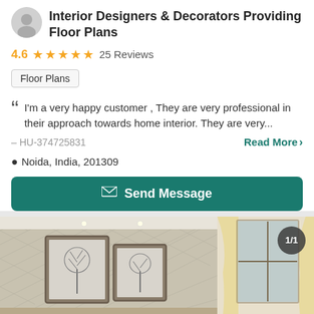Interior Designers & Decorators Providing Floor Plans
4.6 ★★★★½ 25 Reviews
Floor Plans
I'm a very happy customer , They are very professional in their approach towards home interior. They are very...
– HU-374725831   Read More >
Noida, India, 201309
Send Message
[Figure (photo): Interior room photo showing framed wall art pictures of trees, decorative wallpaper, ceiling lights, and yellow/cream curtains near a window]